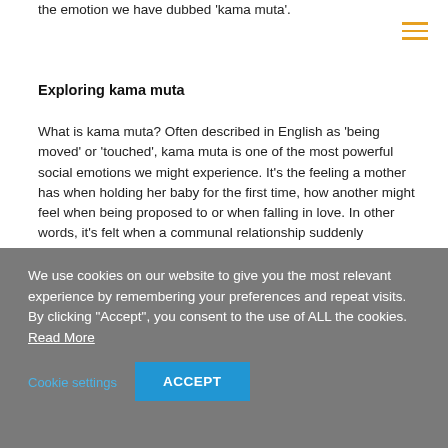the emotion we have dubbed 'kama muta'.
Exploring kama muta
What is kama muta? Often described in English as ‘being moved’ or ‘touched’, kama muta is one of the most powerful social emotions we might experience. It’s the feeling a mother has when holding her baby for the first time, how another might feel when being proposed to or when falling in love. In other words, it’s felt when a communal relationship suddenly intensifies. We use the old Sanskrit term ‘kama muta’ to point out that the English labels are not a perfect fit.
It doesn’t just change the way we feel. One of the hallmarks of
We use cookies on our website to give you the most relevant experience by remembering your preferences and repeat visits. By clicking “Accept”, you consent to the use of ALL the cookies. Read More
Cookie settings   ACCEPT